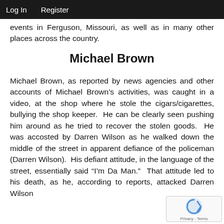Log In   Register
events in Ferguson, Missouri, as well as in many other places across the country.
Michael Brown
Michael Brown, as reported by news agencies and other accounts of Michael Brown’s activities, was caught in a video, at the shop where he stole the cigars/cigarettes, bullying the shop keeper. He can be clearly seen pushing him around as he tried to recover the stolen goods. He was accosted by Darren Wilson as he walked down the middle of the street in apparent defiance of the policeman (Darren Wilson). His defiant attitude, in the language of the street, essentially said “I’m Da Man.” That attitude led to his death, as he, according to reports, attacked Darren Wilson